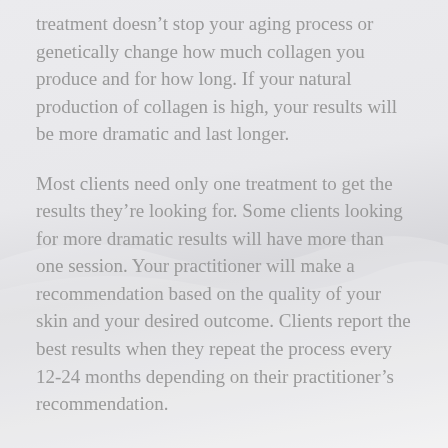treatment doesn't stop your aging process or genetically change how much collagen you produce and for how long. If your natural production of collagen is high, your results will be more dramatic and last longer.
Most clients need only one treatment to get the results they're looking for. Some clients looking for more dramatic results will have more than one session. Your practitioner will make a recommendation based on the quality of your skin and your desired outcome. Clients report the best results when they repeat the process every 12-24 months depending on their practitioner's recommendation.